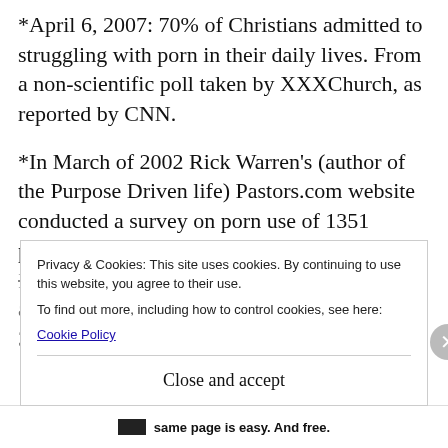*April 6, 2007: 70% of Christians admitted to struggling with porn in their daily lives. From a non-scientific poll taken by XXXChurch, as reported by CNN.
*In March of 2002 Rick Warren's (author of the Purpose Driven life) Pastors.com website conducted a survey on porn use of 1351 pastors: 54% of the pastors had viewed Internet pornography within the last year...
Privacy & Cookies: This site uses cookies. By continuing to use this website, you agree to their use.
To find out more, including how to control cookies, see here:
Cookie Policy
Close and accept
same page is easy. And free.